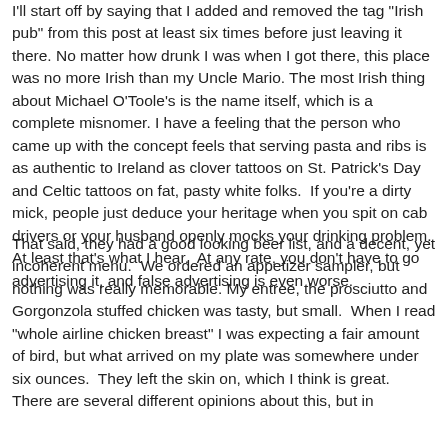I'll start off by saying that I added and removed the tag "Irish pub" from this post at least six times before just leaving it there. No matter how drunk I was when I got there, this place was no more Irish than my Uncle Mario. The most Irish thing about Michael O'Toole's is the name itself, which is a complete misnomer. I have a feeling that the person who came up with the concept feels that serving pasta and ribs is as authentic to Ireland as clover tattoos on St. Patrick's Day and Celtic tattoos on fat, pasty white folks. If you're a dirty mick, people just deduce your heritage when you spit on cab drivers or your husband openly mocks your drinking problem. At least that's what I hear. At any rate, you don't have to go advertising it, and false advertising is even worse.
That said, they had a good looking beer list, and a decent, yet incoherent menu. We ordered an appetizer sampler, but nothing was really memorable. My entree, the prosciutto and Gorgonzola stuffed chicken was tasty, but small. When I read "whole airline chicken breast" I was expecting a fair amount of bird, but what arrived on my plate was somewhere under six ounces. They left the skin on, which I think is great. There are several different opinions about this, but in